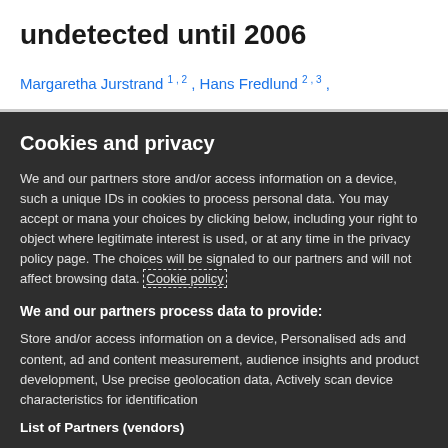undetected until 2006
Margaretha Jurstrand 1, 2, Hans Fredlund 2, 3,
Cookies and privacy
We and our partners store and/or access information on a device, such as unique IDs in cookies to process personal data. You may accept or manage your choices by clicking below, including your right to object where legitimate interest is used, or at any time in the privacy policy page. These choices will be signaled to our partners and will not affect browsing data. Cookie policy
We and our partners process data to provide:
Store and/or access information on a device, Personalised ads and content, ad and content measurement, audience insights and product development, Use precise geolocation data, Actively scan device characteristics for identification
List of Partners (vendors)
I Accept